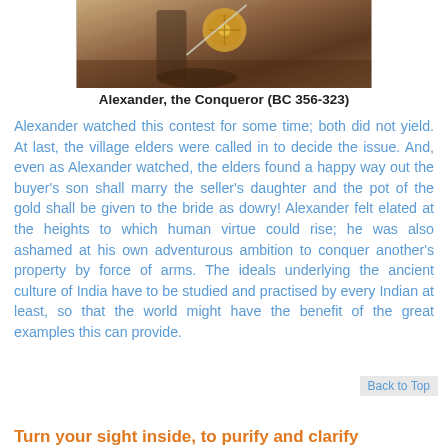[Figure (illustration): Illustration of Alexander the Conqueror in battle, showing a warrior with a golden shield and sword on horseback with a reddish-brown background]
Alexander, the Conqueror (BC 356-323)
Alexander watched this contest for some time; both did not yield. At last, the village elders were called in to decide the issue. And, even as Alexander watched, the elders found a happy way out the buyer's son shall marry the seller's daughter and the pot of the gold shall be given to the bride as dowry! Alexander felt elated at the heights to which human virtue could rise; he was also ashamed at his own adventurous ambition to conquer another's property by force of arms. The ideals underlying the ancient culture of India have to be studied and practised by every Indian at least, so that the world might have the benefit of the great examples this can provide.
Back to Top
Turn your sight inside, to purify and clarify